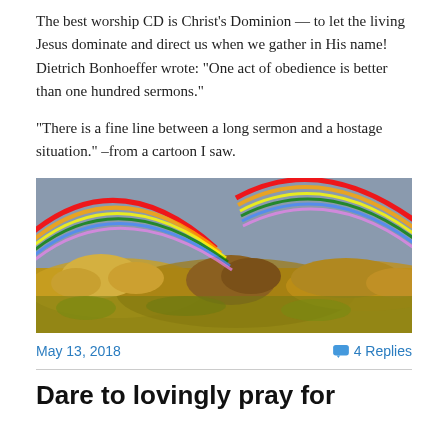The best worship CD is Christ’s Dominion — to let the living Jesus dominate and direct us when we gather in His name! Dietrich Bonhoeffer wrote: “One act of obedience is better than one hundred sermons.”
“There is a fine line between a long sermon and a hostage situation.” –from a cartoon I saw.
[Figure (photo): A landscape photo showing two rainbows arching over golden rocky terrain under a grey sky.]
May 13, 2018
4 Replies
Dare to lovingly pray for